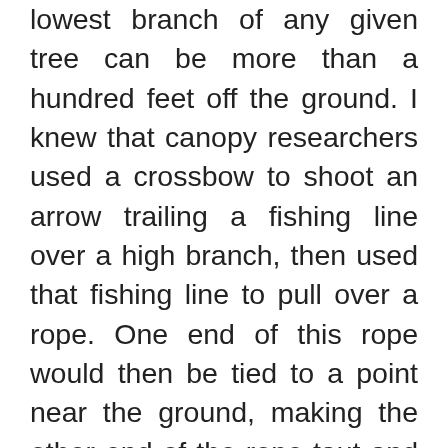lowest branch of any given tree can be more than a hundred feet off the ground. I knew that canopy researchers used a crossbow to shoot an arrow trailing a fishing line over a high branch, then used that fishing line to pull over a rope. One end of this rope would then be tied to a point near the ground, making the other end of the rope taut and ready to climb.
It took me several months to get it right. Some of the gear I used was appallingly unsafe—like a 20-year-old, overly stretchy rock climbing rope. Trial-and-error is